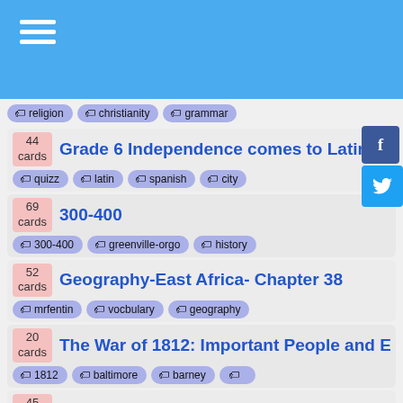[Figure (screenshot): Blue header bar with hamburger menu icon]
religion, christianity, grammar (tags)
44 cards - Grade 6 Independence comes to Latin A | tags: quizz, latin, spanish, city
69 cards - 300-400 | tags: 300-400, greenville-orgo, history
52 cards - Geography-East Africa- Chapter 38 | tags: mrfentin, vocbulary, geography
20 cards - The War of 1812: Important People and E | tags: 1812, baltimore, barney
45 cards - George Washington, Political parties, Do | tags: george, parties, political
44 cards - French - In 10 Minutes A Day: A-Z | tags: nouns, dance, american
25 cards - Western Civilization Identifications Midd